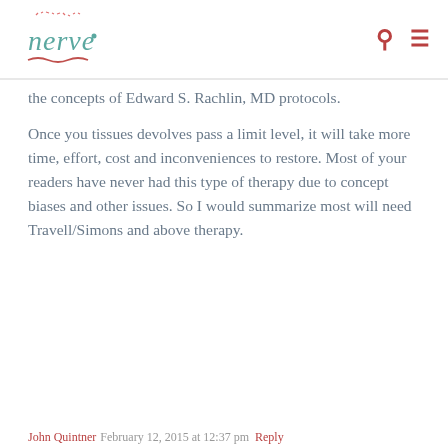[Figure (logo): Nerve website logo — hand-drawn style text 'nerve' in teal/blue with decorative squiggles]
the concepts of Edward S. Rachlin, MD protocols.
Once you tissues devolves pass a limit level, it will take more time, effort, cost and inconveniences to restore. Most of your readers have never had this type of therapy due to concept biases and other issues. So I would summarize most will need Travell/Simons and above therapy.
John Quintner  February 12, 2015 at 12:37 pm  Reply